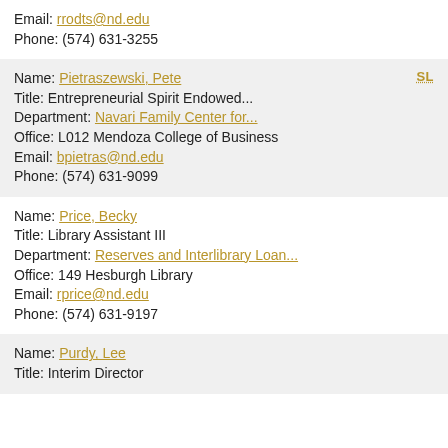Email: rrodts@nd.edu
Phone: (574) 631-3255
Name: Pietraszewski, Pete
Title: Entrepreneurial Spirit Endowed...
Department: Navari Family Center for...
Office: L012 Mendoza College of Business
Email: bpietras@nd.edu
Phone: (574) 631-9099
Name: Price, Becky
Title: Library Assistant III
Department: Reserves and Interlibrary Loan...
Office: 149 Hesburgh Library
Email: rprice@nd.edu
Phone: (574) 631-9197
Name: Purdy, Lee
Title: Interim Director